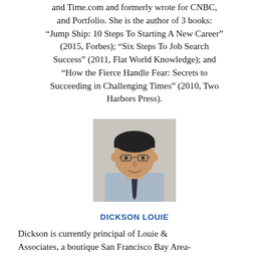and Time.com and formerly wrote for CNBC, and Portfolio. She is the author of 3 books: “Jump Ship: 10 Steps To Starting A New Career” (2015, Forbes); “Six Steps To Job Search Success” (2011, Flat World Knowledge); and “How the Fierce Handle Fear: Secrets to Succeeding in Challenging Times” (2010, Two Harbors Press).
[Figure (photo): Headshot photo of Dickson Louie, a man wearing glasses and a light blue shirt, smiling at the camera.]
DICKSON LOUIE
Dickson is currently principal of Louie & Associates, a boutique San Francisco Bay Area-